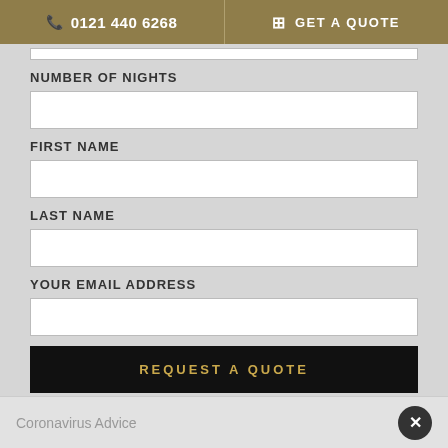0121 440 6268  GET A QUOTE
NUMBER OF NIGHTS
FIRST NAME
LAST NAME
YOUR EMAIL ADDRESS
REQUEST A QUOTE
Coronavirus Advice